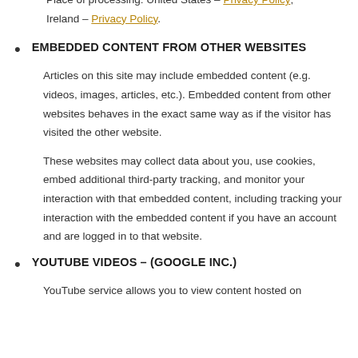Place of processing: United States – Privacy Policy; Ireland – Privacy Policy.
EMBEDDED CONTENT FROM OTHER WEBSITES
Articles on this site may include embedded content (e.g. videos, images, articles, etc.). Embedded content from other websites behaves in the exact same way as if the visitor has visited the other website.
These websites may collect data about you, use cookies, embed additional third-party tracking, and monitor your interaction with that embedded content, including tracking your interaction with the embedded content if you have an account and are logged in to that website.
YOUTUBE VIDEOS – (GOOGLE INC.)
YouTube service allows you to view content hosted on